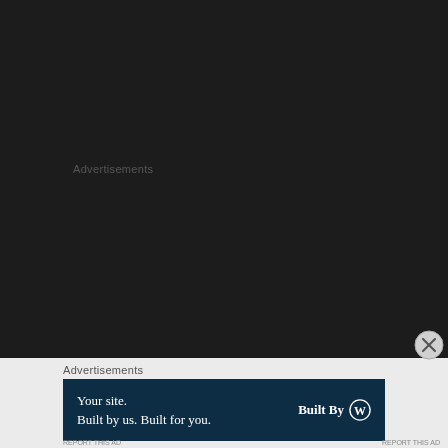Advertisements
Advertisements
[Figure (other): Advertisement banner with dark navy background. Left side shows text 'Your site. Built by us. Built for you.' Right side shows 'Built By' with WordPress logo (W in circle).]
REPORT THIS AD